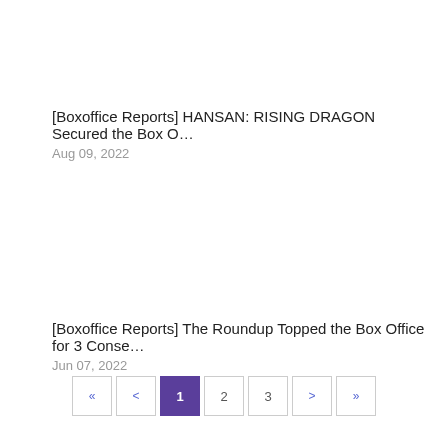[Boxoffice Reports] HANSAN: RISING DRAGON Secured the Box O…
Aug 09, 2022
[Boxoffice Reports] The Roundup Topped the Box Office for 3 Conse…
Jun 07, 2022
« < 1 2 3 > »